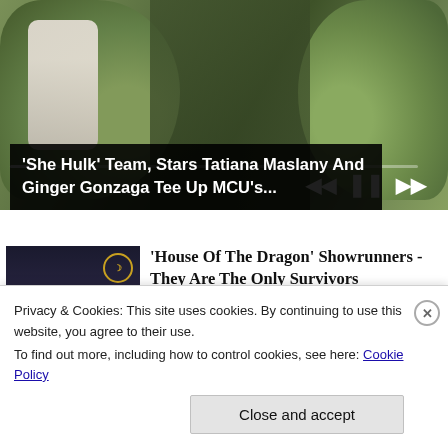[Figure (screenshot): Video player showing two green Hulk-like hands with media controls (rewind, pause, fast-forward) and a progress bar at the bottom.]
'She Hulk' Team, Stars Tatiana Maslany And Ginger Gonzaga Tee Up MCU's...
[Figure (photo): Thumbnail image of House of the Dragon cast members in medieval fantasy costumes against a dark backdrop with the Targaryen sigil.]
'House Of The Dragon' Showrunners - They Are The Only Survivors
Shadow and Act
Privacy & Cookies: This site uses cookies. By continuing to use this website, you agree to their use.
To find out more, including how to control cookies, see here: Cookie Policy